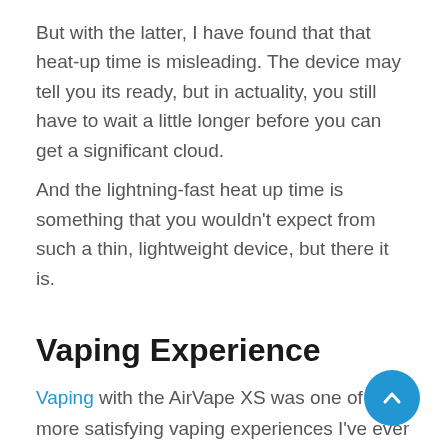But with the latter, I have found that that heat-up time is misleading. The device may tell you its ready, but in actuality, you still have to wait a little longer before you can get a significant cloud.
And the lightning-fast heat up time is something that you wouldn't expect from such a thin, lightweight device, but there it is.
Vaping Experience
Vaping with the AirVape XS was one of the more satisfying vaping experiences I've ever had. The combination and play of all these different factors — the clean, undisrupted vapor path; the air chamber under the mouthpiece; the myriad airflow holes — all worked